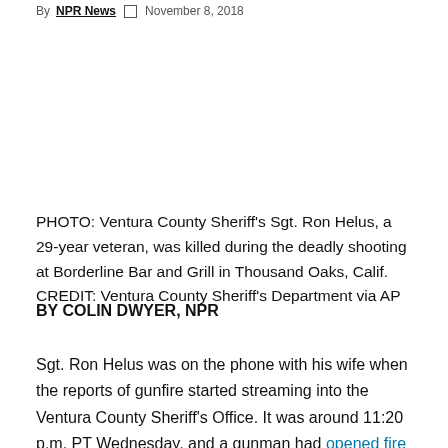By NPR News  November 8, 2018
PHOTO: Ventura County Sheriff’s Sgt. Ron Helus, a 29-year veteran, was killed during the deadly shooting at Borderline Bar and Grill in Thousand Oaks, Calif. CREDIT: Ventura County Sheriff’s Department via AP
BY COLIN DWYER, NPR
Sgt. Ron Helus was on the phone with his wife when the reports of gunfire started streaming into the Ventura County Sheriff’s Office. It was around 11:20 p.m. PT Wednesday, and a gunman had opened fire at the Borderline Bar & Grill.